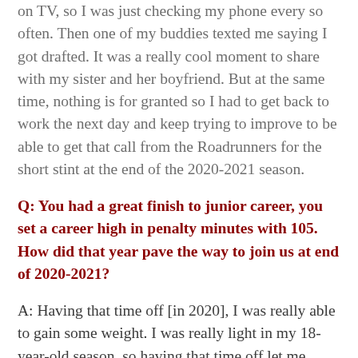on TV, so I was just checking my phone every so often. Then one of my buddies texted me saying I got drafted. It was a really cool moment to share with my sister and her boyfriend. But at the same time, nothing is for granted so I had to get back to work the next day and keep trying to improve to be able to get that call from the Roadrunners for the short stint at the end of the 2020-2021 season.
Q: You had a great finish to junior career, you set a career high in penalty minutes with 105. How did that year pave the way to join us at end of 2020-2021?
A: Having that time off [in 2020], I was really able to gain some weight. I was really light in my 18-year-old season, so having that time off let me focus on gaining weight and building a more mature body. When I was 19, I was lucky enough